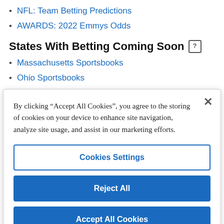NFL: Team Betting Predictions
AWARDS: 2022 Emmys Odds
States With Betting Coming Soon ?
Massachusetts Sportsbooks
Ohio Sportsbooks
Kansas Sportsbooks
By clicking “Accept All Cookies”, you agree to the storing of cookies on your device to enhance site navigation, analyze site usage, and assist in our marketing efforts.
Cookies Settings
Reject All
Accept All Cookies